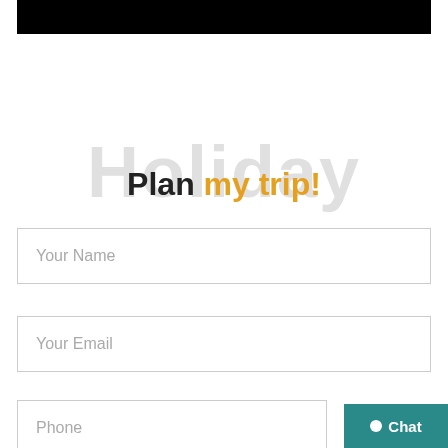[Figure (other): Black header bar at the top of the page]
Plan my trip!
Your Name
Your Email
Phone